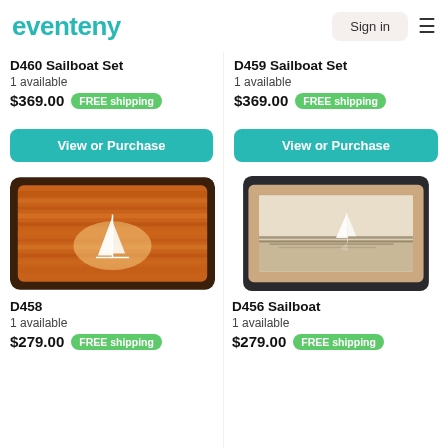eventeny | Sign in
D460 Sailboat Set
1 available
$369.00  FREE shipping
D459 Sailboat Set
1 available
$369.00  FREE shipping
View or Purchase
View or Purchase
[Figure (photo): Wooden box art with glowing sailboat silhouette on warm wood grain background]
[Figure (photo): Framed wood art depicting a sailboat on calm water, light wood frame on dark background]
D458
1 available
$279.00  FREE shipping
D456 Sailboat
1 available
$279.00  FREE shipping